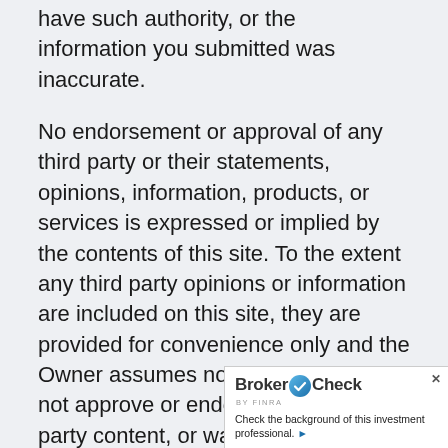have such authority, or the information you submitted was inaccurate.
No endorsement or approval of any third party or their statements, opinions, information, products, or services is expressed or implied by the contents of this site. To the extent any third party opinions or information are included on this site, they are provided for convenience only and the Owner assumes no liability and does not approve or endorse such third party content, or warrant such content to be accurate, complete, reliable, verified, error free, or fit for any purpose.
The Owner may utilize third party service providers to provide certain tools and/or programs which may be housed on a third party se...
[Figure (other): BrokerCheck by FINRA widget overlay in bottom-right corner. Shows 'BrokerCheck' logo with a circular checkmark icon, the FINRA sub-brand tag, and the text 'Check the background of this investment professional.' with a right-arrow link. Has a close (x) button in the top-right corner.]